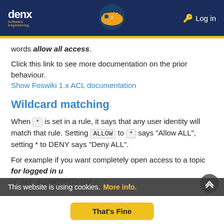denx software engineering | Log in
words allow all access.
Click this link to see more documentation on the prior behaviour.
Show Foswiki 1.x ACL documentation
Wildcard matching
When * is set in a rule, it says that any user identity will match that rule. Setting ALLOW to * says "Allow ALL", setting * to DENY says "Deny ALL".
For example if you want completely open access to a topic for logged in u...
Set ALLOWTOPICVIEW = *